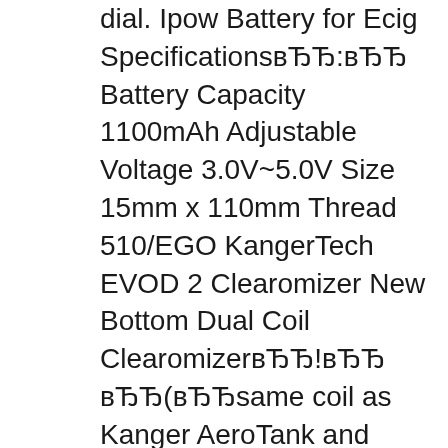dial. Ipow Battery for Ecig SpecificationsвЂЂ:вЂЂ Battery Capacity 1100mAh Adjustable Voltage 3.0V~5.0V Size 15mm x 110mm Thread 510/EGO KangerTech EVOD 2 Clearomizer New Bottom Dual Coil CleaomizerвЂЂ!вЂЂ вЂЂ(вЂЂsame coil as Kanger AeroTank and Protank 3вЂЂ)вЂЂ This is the upgraded evod clearomizer from KangerTech made with dual coil systemвЂЂ.
This is my review for the iPow 2, a tube-style battery from Kanger. An excellent upgrade from the starter kit style batteries that are usually 650 or 1000 mAh. This Kangertech iPow 2 feels like it is light years ahead in terms of style,